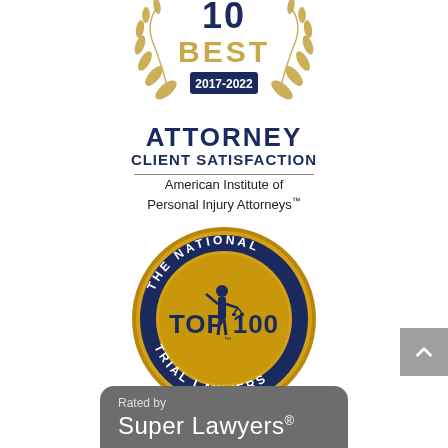[Figure (logo): 10 BEST 2017-2022 Attorney Client Satisfaction laurel wreath badge from American Institute of Personal Injury Attorneys]
ATTORNEY
CLIENT SATISFACTION
American Institute of Personal Injury Attorneys™
[Figure (logo): The National Trial Lawyers TOP 100 circular gold and navy seal with Lady Justice figure]
[Figure (logo): Rated by Super Lawyers badge on grey rounded rectangle background]